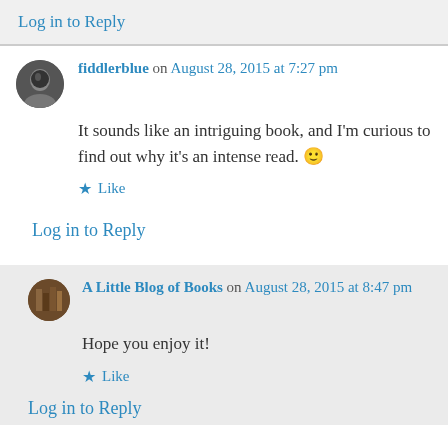Log in to Reply
fiddlerblue on August 28, 2015 at 7:27 pm
It sounds like an intriguing book, and I'm curious to find out why it's an intense read. 🙂
Like
Log in to Reply
A Little Blog of Books on August 28, 2015 at 8:47 pm
Hope you enjoy it!
Like
Log in to Reply